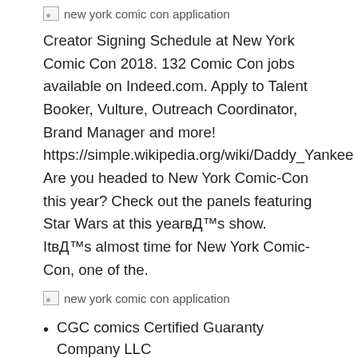[Figure (other): Broken image placeholder labeled 'new york comic con application']
Creator Signing Schedule at New York Comic Con 2018. 132 Comic Con jobs available on Indeed.com. Apply to Talent Booker, Vulture, Outreach Coordinator, Brand Manager and more! https://simple.wikipedia.org/wiki/Daddy_Yankee Are you headed to New York Comic-Con this year? Check out the panels featuring Star Wars at this year’s show. It’s almost time for New York Comic-Con, one of the.
[Figure (other): Broken image placeholder labeled 'new york comic con application']
CGC comics Certified Guaranty Company LLC
Supernatural creator and actors at New York Comic-Con 2018